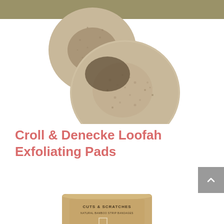[Figure (photo): Tan/beige loofah exfoliating pads photographed against white background, showing two round textured natural loofah pads overlapping, with olive/khaki header bar at top]
Croll & Denecke Loofah Exfoliating Pads
[Figure (photo): Gold/tan cylindrical tube packaging labeled 'CUTS & SCRATCHES NATURAL BAMBOO STRIP BANDAGES' partially visible at bottom of page]